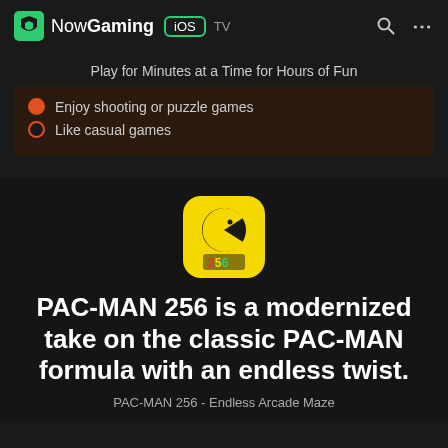NowGaming iOS TV
Play for Minutes at a Time for Hours of Fun
Enjoy shooting or puzzle games
Like casual games
[Figure (logo): PAC-MAN 256 app icon — yellow rounded square with Pac-Man graphic and '256' text]
PAC-MAN 256 is a modernized take on the classic PAC-MAN formula with an endless twist.
PAC-MAN 256 - Endless Arcade Maze